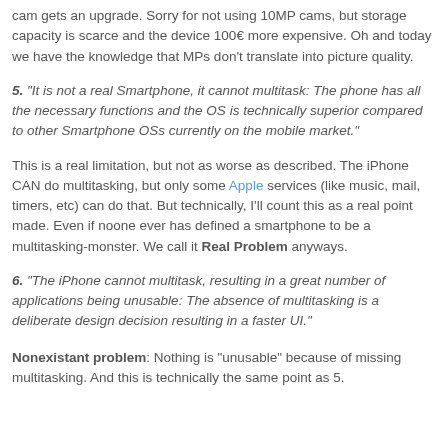cam gets an upgrade. Sorry for not using 10MP cams, but storage capacity is scarce and the device 100€ more expensive. Oh and today we have the knowledge that MPs don't translate into picture quality.
5. "It is not a real Smartphone, it cannot multitask: The phone has all the necessary functions and the OS is technically superior compared to other Smartphone OSs currently on the mobile market."
This is a real limitation, but not as worse as described. The iPhone CAN do multitasking, but only some Apple services (like music, mail, timers, etc) can do that. But technically, I'll count this as a real point made. Even if noone ever has defined a smartphone to be a multitasking-monster. We call it Real Problem anyways.
6. "The iPhone cannot multitask, resulting in a great number of applications being unusable: The absence of multitasking is a deliberate design decision resulting in a faster UI."
Nonexistant problem: Nothing is "unusable" because of missing multitasking. And this is technically the same point as 5.